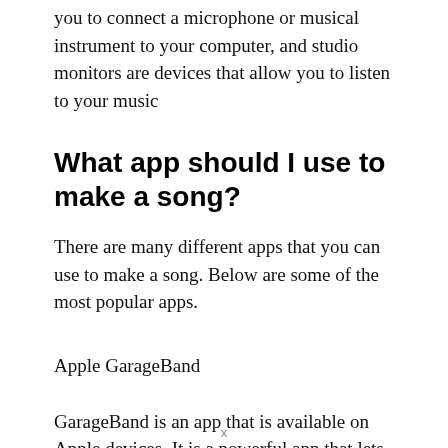you to connect a microphone or musical instrument to your computer, and studio monitors are devices that allow you to listen to your music
What app should I use to make a song?
There are many different apps that you can use to make a song. Below are some of the most popular apps.
Apple GarageBand
GarageBand is an app that is available on Apple devices. It is a powerful app that lets you create